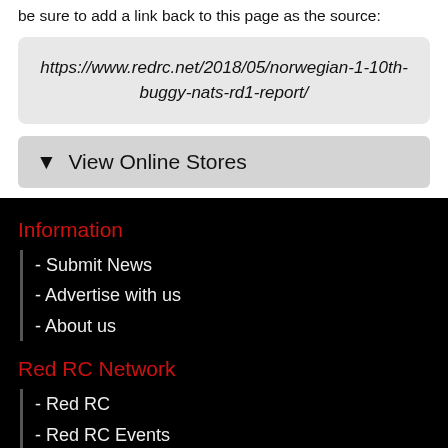be sure to add a link back to this page as the source:
https://www.redrc.net/2018/05/norwegian-1-10th-buggy-nats-rd1-report/
▼  View Online Stores
Information
- Submit News
- Advertise with us
- About us
Red RC Network
- Red RC
- Red RC Events
Archive sites
- OneTen